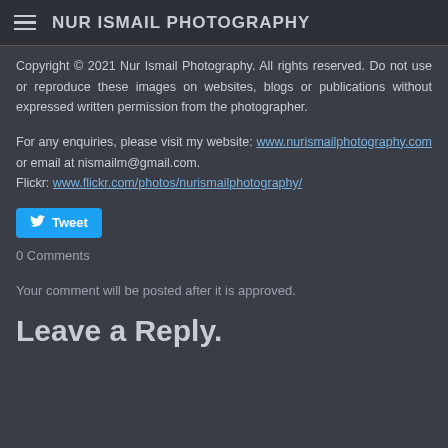NUR ISMAIL PHOTOGRAPHY
Copyright © 2021 Nur Ismail Photography. All rights reserved. Do not use or reproduce these images on websites, blogs or publications without expressed written permission from the photographer.
For any enquiries, please visit my website: www.nurismailphotography.com or email at nismailm@gmail.com.
Flickr: www.flickr.com/photos/nurismailphotography/
[Figure (other): Tweet button with Twitter bird icon]
0 Comments
Your comment will be posted after it is approved.
Leave a Reply.